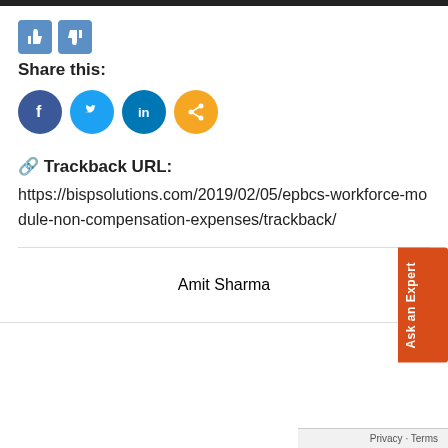[Figure (illustration): Dark top bar header strip]
[Figure (illustration): Thumbs up and thumbs down like/dislike buttons in blue]
Share this:
[Figure (illustration): Social media share icons: Facebook (blue), Twitter (light blue), LinkedIn (dark blue), Share (orange)]
🔗 Trackback URL:
https://bispsolutions.com/2019/02/05/epbcs-workforce-module-non-compensation-expenses/trackback/
Amit Sharma